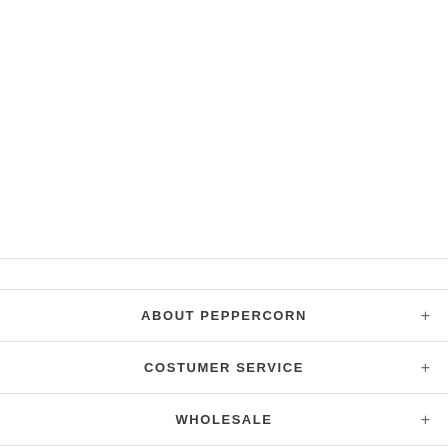ABOUT PEPPERCORN
COSTUMER SERVICE
WHOLESALE
CONTACT PEPPERCORN